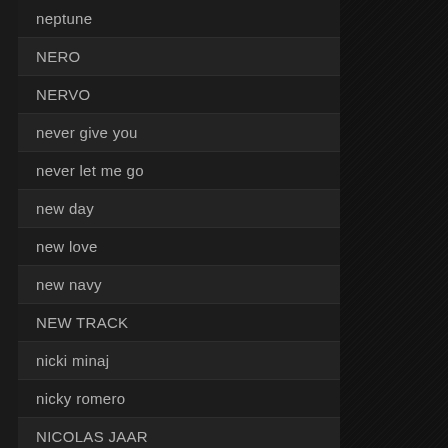neptune
NERO
NERVO
never give you
never let me go
new day
new love
new navy
NEW TRACK
nicki minaj
nicky romero
NICOLAS JAAR
NICOLE TYLER
NIGHT LIGHT